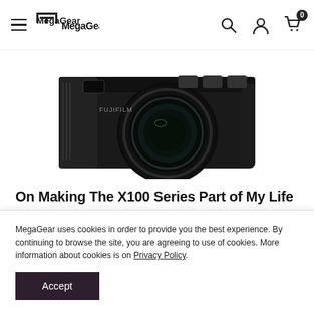MegaGear navigation bar with hamburger menu, logo, search, account, and cart icons
[Figure (photo): Fujifilm X100 series camera, black, front view with lens, cropped at top against white background]
On Making The X100 Series Part of My Life
Jul 15, 2020
Earlier this year, before the whole World getting up-side-down, Fujifilm unveiled one of the most awaited cameras in their line-up so far, the X100V Series, being the successor of a series dating toffer and the 5th
MegaGear uses cookies in order to provide you the best experience. By continuing to browse the site, you are agreeing to use of cookies. More information about cookies is on Privacy Policy. Accept